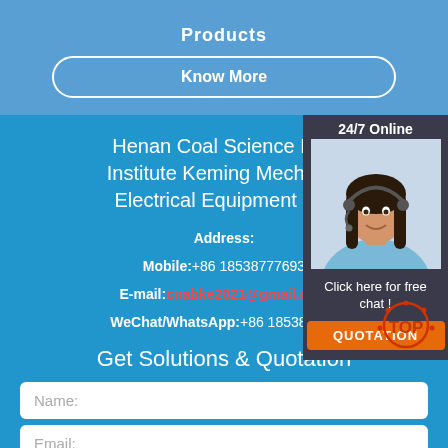Products
Know More
Henan Coal Science Research Institute Keming Mechanical & Electrical Equipment Co.
Address:
Mobile:+86 18538777693
E-mail:cnabke2021@gmail.com
WeChat/WhatsApp:+86 18538777693
Get Solutions & Quotation
[Figure (photo): Customer service agent (woman with headset) in chat widget overlay]
24/7 Online
Click here for free chat !
QUOTATION
Name:
Email: